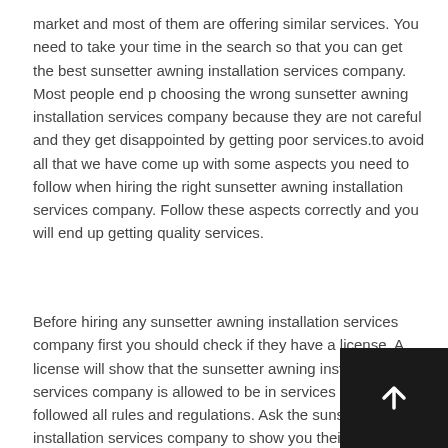market and most of them are offering similar services. You need to take your time in the search so that you can get the best sunsetter awning installation services company. Most people end p choosing the wrong sunsetter awning installation services company because they are not careful and they get disappointed by getting poor services.to avoid all that we have come up with some aspects you need to follow when hiring the right sunsetter awning installation services company. Follow these aspects correctly and you will end up getting quality services.
Before hiring any sunsetter awning installation services company first you should check if they have a license. A license will show that the sunsetter awning installation services company is allowed to be in services and has followed all rules and regulations. Ask the sunsetter awning installation services company to show you their license and check if it is renewed or has expired. If the sunsetter awning installation services company fails to show their license avoid hiring them as it is...